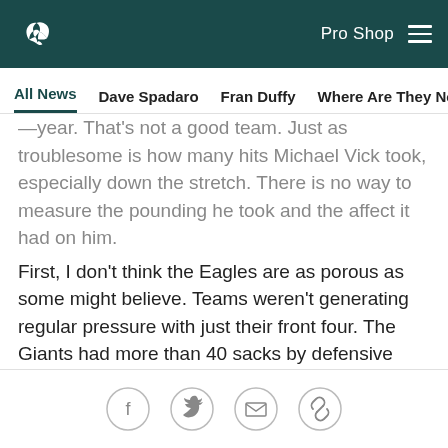Pro Shop
All News | Dave Spadaro | Fran Duffy | Where Are They Now? | Pu...
—year. That's not a good team. Just as troublesome is how many hits Michael Vick took, especially down the stretch. There is no way to measure the pounding he took and the affect it had on him.
First, I don't think the Eagles are as porous as some might believe. Teams weren't generating regular pressure with just their front four. The Giants had more than 40 sacks by defensive linemen this year. Go back and re-watch the games between them and us. When they rushed just four, Vick had time to sit in the pocket and find receivers. The Giants defense became a disruptive force when Antrel Rolle blitzed off the edge.
Social share icons: Facebook, Twitter, Email, Link